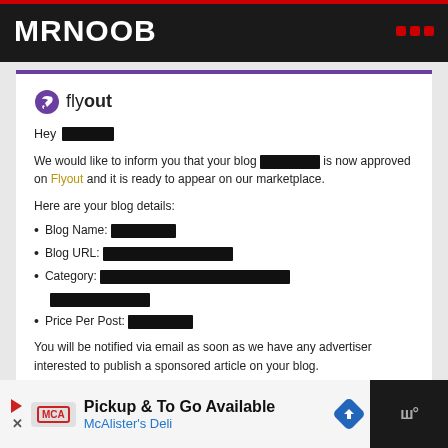MRNOOB
[Figure (logo): Flyout logo with circular arrow icon and text 'flyout']
Hey [REDACTED]
We would like to inform you that your blog [REDACTED] is now approved on Flyout and it is ready to appear on our marketplace.
Here are your blog details:
Blog Name: [REDACTED]
Blog URL: [REDACTED]
Category: [REDACTED]
Price Per Post: [REDACTED]
You will be notified via email as soon as we have any advertiser interested to publish a sponsored article on your blog.
[Figure (infographic): Advertisement banner: Pickup & To Go Available - McAlister's Deli]